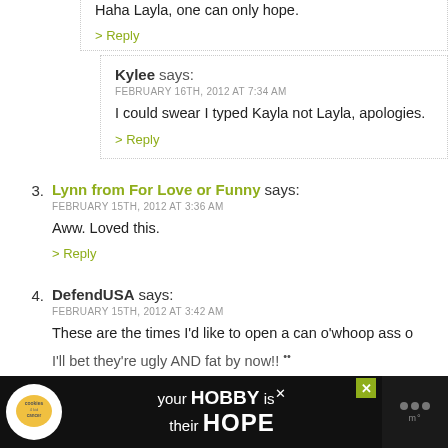Haha Layla, one can only hope.
> Reply
Kylee says:
FEBRUARY 16TH, 2012 AT 7:34 AM

I could swear I typed Kayla not Layla, apologies.

> Reply
3. Lynn from For Love or Funny says:
FEBRUARY 15TH, 2012 AT 3:36 AM

Aww. Loved this.

> Reply
4. DefendUSA says:
FEBRUARY 15TH, 2012 AT 3:42 AM

These are the times I'd like to open a can o'whoop ass o...
[Figure (screenshot): Advertisement banner at bottom: 'your HOBBY is their HOPE' with cookies and cancer charity logo on black background]